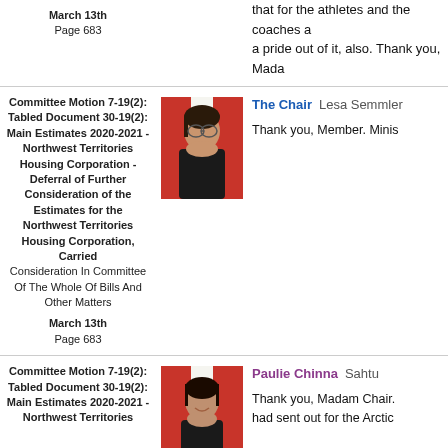March 13th
Page 683
that for the athletes and the coaches a... a pride out of it, also. Thank you, Mada...
Committee Motion 7-19(2):
Tabled Document 30-19(2):
Main Estimates 2020-2021 -
Northwest Territories Housing Corporation -
Deferral of Further Consideration of the Estimates for the Northwest Territories Housing Corporation, Carried
Consideration In Committee Of The Whole Of Bills And Other Matters
March 13th
Page 683
[Figure (photo): Portrait photo of The Chair Lesa Semmler]
The Chair  Lesa Semmler
Thank you, Member. Minis...
Committee Motion 7-19(2):
Tabled Document 30-19(2):
Main Estimates 2020-2021 -
Northwest Territories
[Figure (photo): Portrait photo of Paulie Chinna, Sahtu]
Paulie Chinna  Sahtu
Thank you, Madam Chair. ... had sent out for the Arctic...